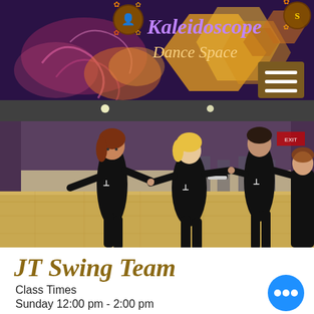[Figure (screenshot): Kaleidoscope Dance Space website header banner with purple/dark background, colorful decorative swirls and geometric shapes, two decorative logo icons, 'Kaleidoscope' in purple italic script, 'Dance Space' in golden italic script, and a brown hamburger menu button]
[Figure (photo): Dance studio photo showing multiple people in black outfits dancing swing on a hardwood floor, with purple drapes and chairs in the background]
JT Swing Team
Class Times
Sunday 12:00 pm - 2:00 pm